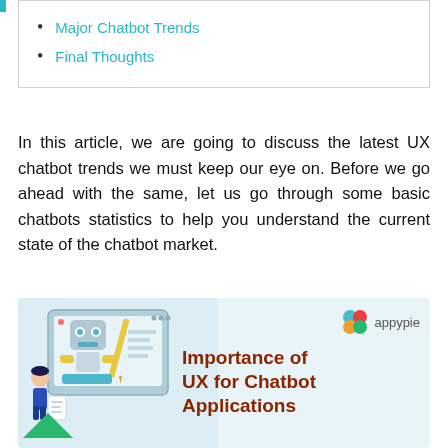Major Chatbot Trends
Final Thoughts
In this article, we are going to discuss the latest UX chatbot trends we must keep our eye on. Before we go ahead with the same, let us go through some basic chatbots statistics to help you understand the current state of the chatbot market.
[Figure (illustration): Appypie infographic showing a robot/chatbot illustration on the left with a person, and text on the right: 'Importance of UX for Chatbot Applications' in dark red/brown bold font, with the Appypie logo in the top right corner.]